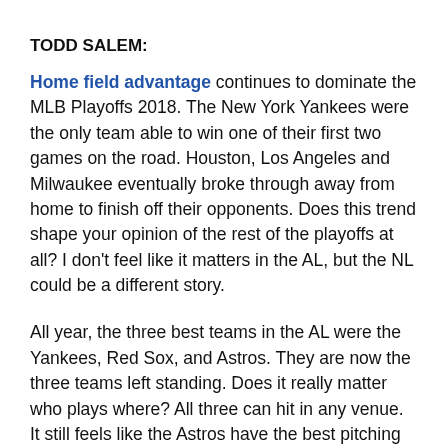TODD SALEM:
Home field advantage continues to dominate the MLB Playoffs 2018. The New York Yankees were the only team able to win one of their first two games on the road. Houston, Los Angeles and Milwaukee eventually broke through away from home to finish off their opponents. Does this trend shape your opinion of the rest of the playoffs at all? I don't feel like it matters in the AL, but the NL could be a different story.
All year, the three best teams in the AL were the Yankees, Red Sox, and Astros. They are now the three teams left standing. Does it really matter who plays where? All three can hit in any venue. It still feels like the Astros have the best pitching staff top to bottom, but their lack of a noticeable hole is a minuscule advantage over their two